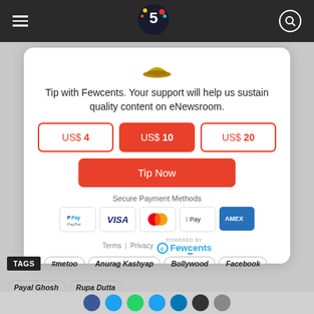[Figure (screenshot): Navigation bar with hamburger menu, 5 News anniversary logo, and search icon on dark background]
Tip with Fewcents. Your support will help us sustain quality content on eNewsroom.
US$ 4
US$ 10
US$ 20
Tip Now
Secure Payment Methods
[Figure (logo): PayPal logo]
[Figure (logo): Visa logo]
[Figure (logo): Mastercard logo]
[Figure (logo): Apple Pay logo]
[Figure (logo): American Express logo]
Terms | Privacy
[Figure (logo): Powered by Fewcents logo]
TAGS #metoo Anurag Kashyap Bollywood Facebook Payal Ghosh Rupa Dutta